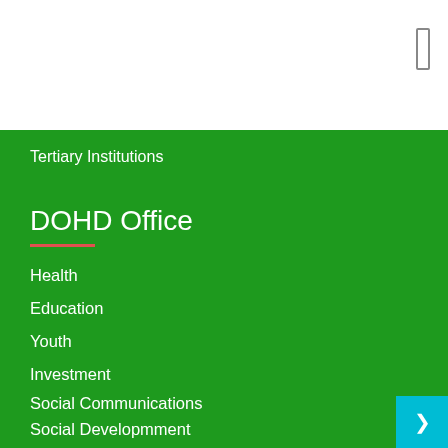Tertiary Institutions
DOHD Office
Health
Education
Youth
Investment
Social Communications
Social Developmment